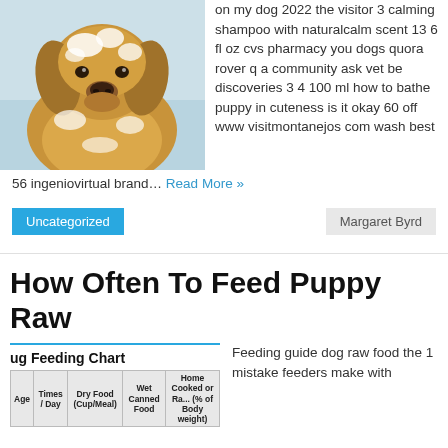[Figure (photo): A wet golden/cocker spaniel dog covered in shampoo suds, looking at camera during a bath]
on my dog 2022 the visitor 3 calming shampoo with naturalcalm scent 13 6 fl oz cvs pharmacy you dogs quora rover q a community ask vet be discoveries 3 4 100 ml how to bathe puppy in cuteness is it okay 60 off www visitmontanejos com wash best 56 ingeniovirtual brand… Read More »
Uncategorized
Margaret Byrd
How Often To Feed Puppy Raw
| Age | Times / Day | Dry Food (Cup/Meal) | Wet Canned Food | Home Cooked or Ra... (% of Body weight) |
| --- | --- | --- | --- | --- |
Feeding guide dog raw food the 1 mistake feeders make with